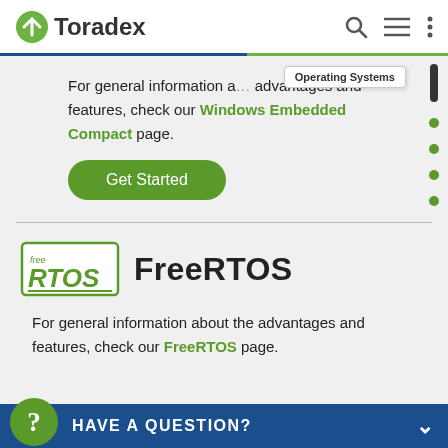Toradex
For general information a… advantages and features, check our Windows Embedded Compact page.
Get Started
[Figure (logo): FreeRTOS logo - green bordered rectangle with 'free' in small text and 'RTOS' in large green bold italic text]
FreeRTOS
For general information about the advantages and features, check our FreeRTOS page.
HAVE A QUESTION?